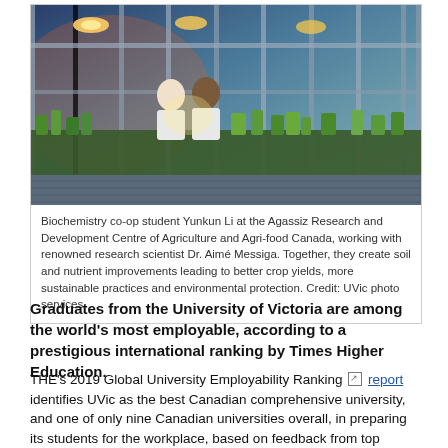[Figure (photo): Greenhouse or research facility with glass walls showing two people inside working with plants. Seen from outside through large glass pane frames. Plants visible in trays. Warm lighting inside.]
Biochemistry co-op student Yunkun Li at the Agassiz Research and Development Centre of Agriculture and Agri-food Canada, working with renowned research scientist Dr. Aimé Messiga. Together, they create soil and nutrient improvements leading to better crop yields, more sustainable practices and environmental protection. Credit: UVic photo services
Graduates from the University of Victoria are among the world's most employable, according to a prestigious international ranking by Times Higher Education.
THE's 2019 Global University Employability Ranking report identifies UVic as the best Canadian comprehensive university, and one of only nine Canadian universities overall, in preparing its students for the workplace, based on feedback from top international companies.